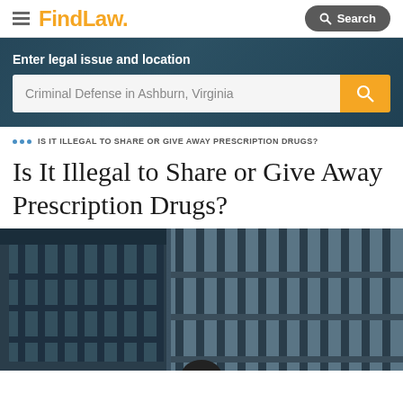FindLaw — Search
[Figure (screenshot): FindLaw website header with hamburger menu, FindLaw logo in orange, and Search button on the right]
[Figure (screenshot): Hero section with dark background: 'Enter legal issue and location' label above a search bar showing 'Criminal Defense in Ashburn, Virginia' with orange search button]
IS IT ILLEGAL TO SHARE OR GIVE AWAY PRESCRIPTION DRUGS?
Is It Illegal to Share or Give Away Prescription Drugs?
[Figure (photo): Photo of jail bars — dark steel prison cell bars against a grey background, with a partial view of a person's head at the bottom]